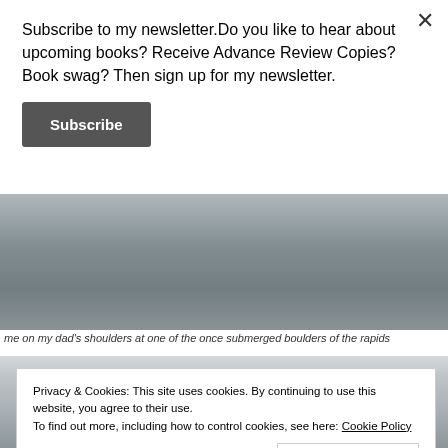Subscribe to my newsletter.Do you like to hear about upcoming books? Receive Advance Review Copies? Book swag? Then sign up for my newsletter.
Subscribe
[Figure (photo): Grayscale photo of rocks/boulders at rapids, partially cropped]
me on my dad's shoulders at one of the once submerged boulders of the rapids
[Figure (photo): Second grayscale photo, partially visible, showing outdoor scene]
Privacy & Cookies: This site uses cookies. By continuing to use this website, you agree to their use.
To find out more, including how to control cookies, see here: Cookie Policy
Close and accept